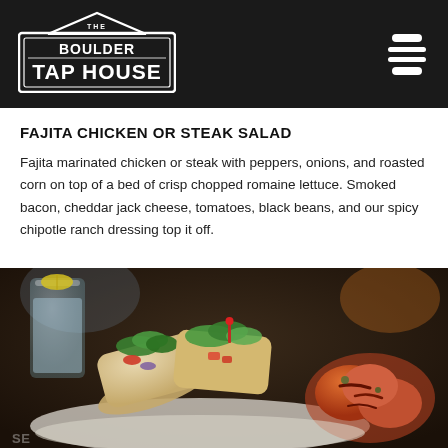[Figure (logo): The Boulder Tap House logo — white text on dark background, rectangular border with mountain/house shape above]
FAJITA CHICKEN OR STEAK SALAD
Fajita marinated chicken or steak with peppers, onions, and roasted corn on top of a bed of crisp chopped romaine lettuce. Smoked bacon, cheddar jack cheese, tomatoes, black beans, and our spicy chipotle ranch dressing top it off.
[Figure (photo): Food photography showing tacos/wraps filled with fresh vegetables including lettuce, tomato, onion, alongside grilled chicken pieces, served in a basket with paper liner, with a glass of water and lemon in the background]